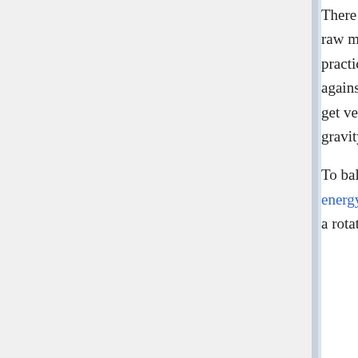There are many challenges to enable building these towns and cities off-Earth. Two prominent ones are raw materials and gravity. A colony of any size will have to be self-sufficient in materials as it will not be practical to ship them up from the surface of the Earth due to the enormous energy required to work against its pull. Escaping this pull long-term also causes major problems for the human body. Muscles get very weak, including the heart, and bones de-mineralise. The only solution is to generate artificial gravity by rotation – even for Moon-bases if people are going to stay for any length of time.
To balance these difficulties, living in space brings many advantages. One is reliable, abundant solar energy, not blocked by the atmosphere or subject to weather or time of day. Another is control of gravity; a rotating space colony would have normal Earthlike gravity.